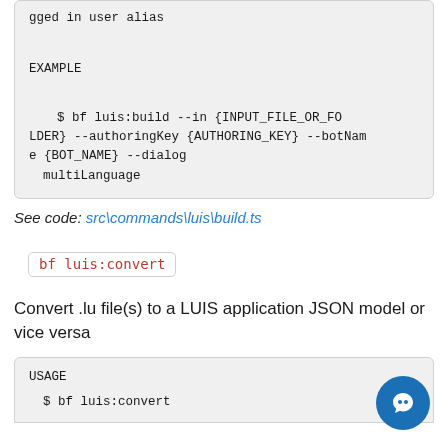gged in user alias

EXAMPLE

    $ bf luis:build --in {INPUT_FILE_OR_FOLDER} --authoringKey {AUTHORING_KEY} --botName {BOT_NAME} --dialog
  multiLanguage
See code: src\commands\luis\build.ts
bf luis:convert
Convert .lu file(s) to a LUIS application JSON model or vice versa
USAGE
  $ bf luis:convert